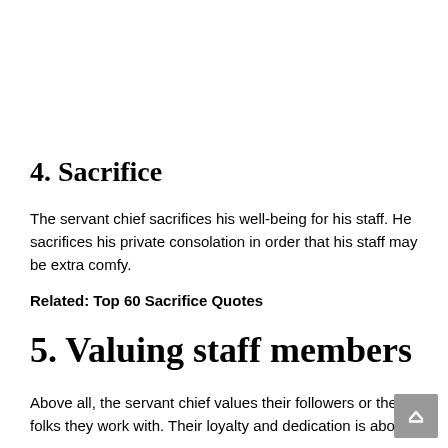4. Sacrifice
The servant chief sacrifices his well-being for his staff. He sacrifices his private consolation in order that his staff may be extra comfy.
Related: Top 60 Sacrifice Quotes
5. Valuing staff members
Above all, the servant chief values their followers or the folks they work with. Their loyalty and dedication is above